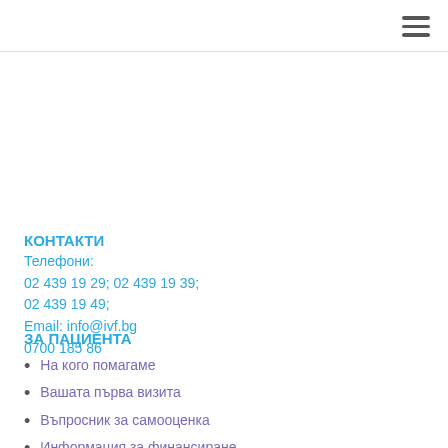КОНТАКТИ
Телефони:
02 439 19 29; 02 439 19 39;
02 439 19 49;
Email: info@ivf.bg
0700 185 86
ЗА ПАЦИЕНТА
На кого помагаме
Вашата първа визита
Въпросник за самооценка
Информация за финансиране